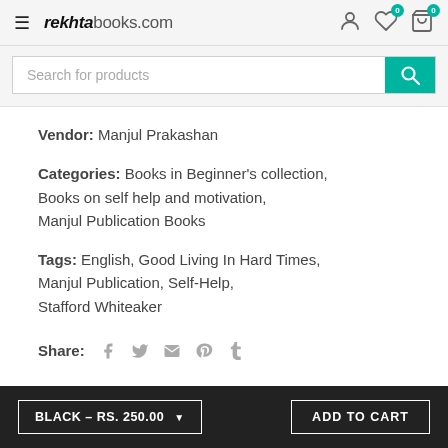rekhtabooks.com
Vendor: Manjul Prakashan
Categories: Books in Beginner's collection, Books on self help and motivation, Manjul Publication Books
Tags: English, Good Living In Hard Times, Manjul Publication, Self-Help, Stafford Whiteaker
Share:
BLACK – RS. 250.00   ADD TO CART